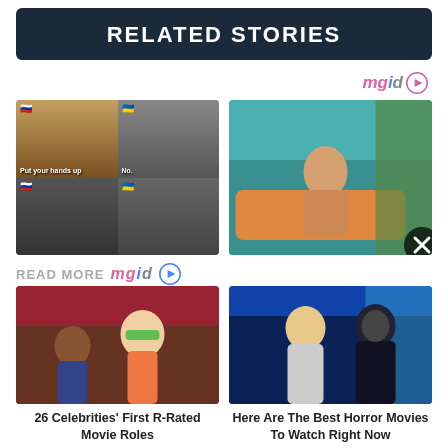RELATED STORIES
[Figure (photo): Grid of four meme-style movie screenshots with Russian and Ukrainian flag emojis and text 'Put your hands up' and 'No']
[Figure (photo): TV show screenshot of a surprised woman on a couch]
READ MORE
[Figure (photo): Movie scene with young woman wearing green glasses in classroom]
26 Celebrities' First R-Rated Movie Roles
[Figure (photo): Horror movie scene with two people in dark blue-lit room]
Here Are The Best Horror Movies To Watch Right Now